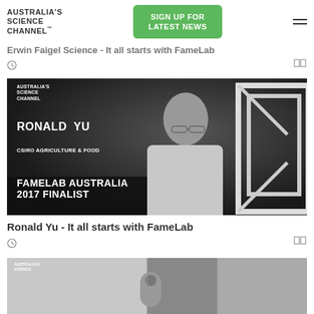AUSTRALIA'S SCIENCE CHANNEL™
SIGN UP FOR LATEST NEWS
Erwin Faigel Science - It all starts with FameLab
[Figure (photo): Black and white portrait photo of Ronald Yu, CSIRO Agriculture & Food, FameLab Australia 2017 Finalist. Australia's Science Channel logo overlay. Man in white shirt smiling, with geometric architectural structure in background.]
Ronald Yu - It all starts with FameLab
[Figure (photo): Bottom strip of another science channel video thumbnail showing laboratory setting.]